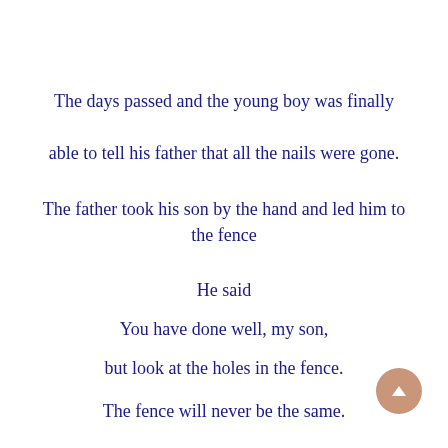The days passed and the young boy was finally able to tell his father that all the nails were gone.
The father took his son by the hand and led him to the fence
He said
You have done well, my son,
but look at the holes in the fence.
The fence will never be the same.